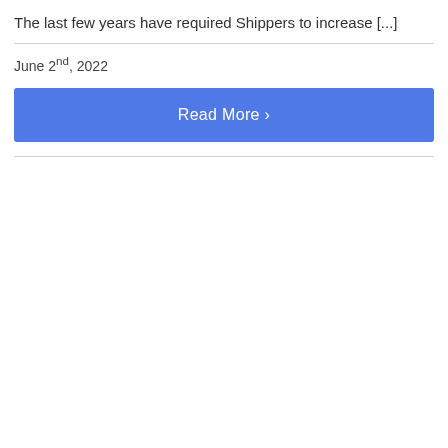The last few years have required Shippers to increase [...]
June 2nd, 2022
Read More >